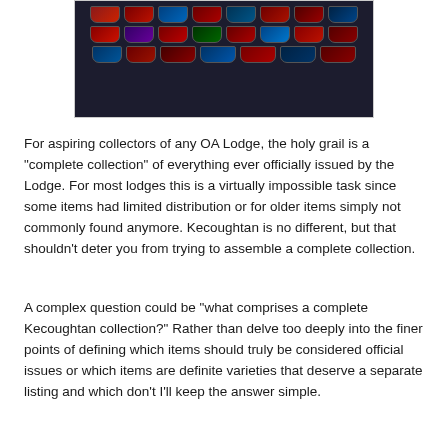[Figure (photo): A framed display board showing a collection of Order of the Arrow (OA) Lodge patches/flaps arranged in rows on a dark background, photographed and shown from a slight angle.]
For aspiring collectors of any OA Lodge, the holy grail is a "complete collection" of everything ever officially issued by the Lodge. For most lodges this is a virtually impossible task since some items had limited distribution or for older items simply not commonly found anymore. Kecoughtan is no different, but that shouldn't deter you from trying to assemble a complete collection.
A complex question could be "what comprises a complete Kecoughtan collection?" Rather than delve too deeply into the finer points of defining which items should truly be considered official issues or which items are definite varieties that deserve a separate listing and which don't I'll keep the answer simple.